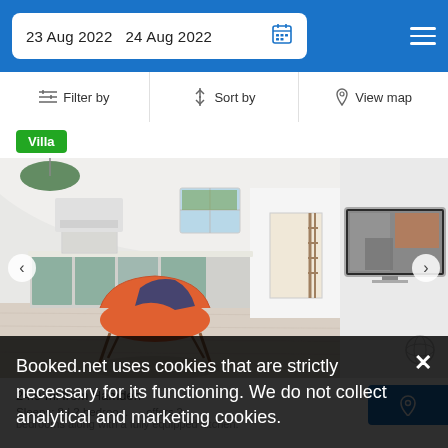23 Aug 2022   24 Aug 2022
Filter by   Sort by   View map
Villa
[Figure (photo): Interior of a villa showing a modern open-plan living space with a kitchen featuring teal/green cabinets, white walls, wood-look flooring, an orange mid-century modern chair, and a wall-mounted TV.]
24.9 mi from Hamden
Booked.net uses cookies that are strictly necessary for its functioning. We do not collect analytical and marketing cookies.